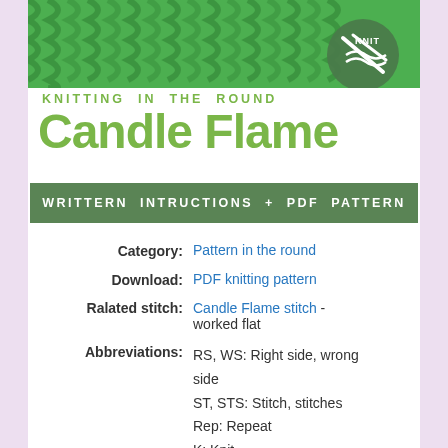[Figure (photo): Green knitting fabric texture header image with circular logo containing knitting needles and 'KNIT' text]
KNITTING IN THE ROUND
Candle Flame
WRITTERN INTRUCTIONS + PDF PATTERN
Category: Pattern in the round
Download: PDF knitting pattern
Ralated stitch: Candle Flame stitch - worked flat
Abbreviations: RS, WS: Right side, wrong side
ST, STS: Stitch, stitches
Rep: Repeat
K: Knit
P: Purl
Yo: Yarn over